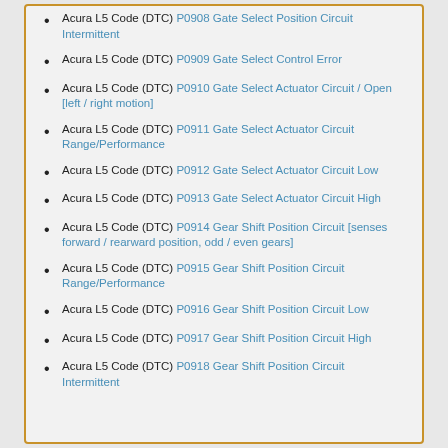Acura L5 Code (DTC) P0908 Gate Select Position Circuit Intermittent
Acura L5 Code (DTC) P0909 Gate Select Control Error
Acura L5 Code (DTC) P0910 Gate Select Actuator Circuit / Open [left / right motion]
Acura L5 Code (DTC) P0911 Gate Select Actuator Circuit Range/Performance
Acura L5 Code (DTC) P0912 Gate Select Actuator Circuit Low
Acura L5 Code (DTC) P0913 Gate Select Actuator Circuit High
Acura L5 Code (DTC) P0914 Gear Shift Position Circuit [senses forward / rearward position, odd / even gears]
Acura L5 Code (DTC) P0915 Gear Shift Position Circuit Range/Performance
Acura L5 Code (DTC) P0916 Gear Shift Position Circuit Low
Acura L5 Code (DTC) P0917 Gear Shift Position Circuit High
Acura L5 Code (DTC) P0918 Gear Shift Position Circuit Intermittent